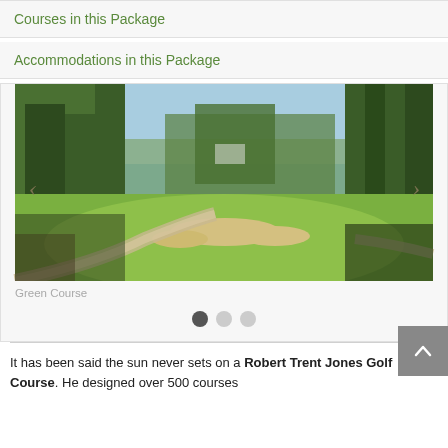Courses in this Package
Accommodations in this Package
[Figure (photo): Golf course photo showing green fairway with sand bunkers, tall pine trees, and a cart path under clear blue sky - Green Course]
Green Course
It has been said the sun never sets on a Robert Trent Jones Golf Course. He designed over 500 courses